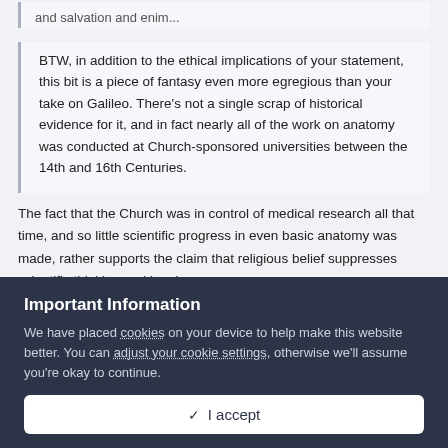and salvation and enim...
BTW, in addition to the ethical implications of your statement, this bit is a piece of fantasy even more egregious than your take on Galileo. There's not a single scrap of historical evidence for it, and in fact nearly all of the work on anatomy was conducted at Church-sponsored universities between the 14th and 16th Centuries.
The fact that the Church was in control of medical research all that time, and so little scientific progress in even basic anatomy was made, rather supports the claim that religious belief suppresses scientific thinking and inquiry
Important Information
We have placed cookies on your device to help make this website better. You can adjust your cookie settings, otherwise we'll assume you're okay to continue.
✓  I accept